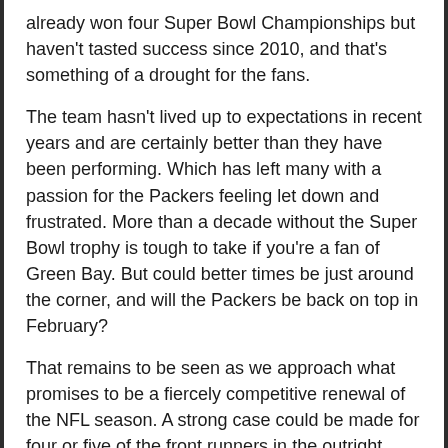already won four Super Bowl Championships but haven't tasted success since 2010, and that's something of a drought for the fans.
The team hasn't lived up to expectations in recent years and are certainly better than they have been performing. Which has left many with a passion for the Packers feeling let down and frustrated. More than a decade without the Super Bowl trophy is tough to take if you're a fan of Green Bay. But could better times be just around the corner, and will the Packers be back on top in February?
That remains to be seen as we approach what promises to be a fiercely competitive renewal of the NFL season. A strong case could be made for four or five of the front runners in the outright odds offered by the best sportsbooks online, and there are also a few underdogs worth keeping an eye on this year.